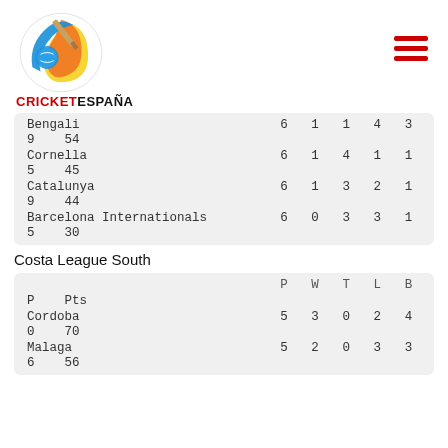[Figure (logo): Cricket España logo with cricket bat and ball graphic above the text CRICKETESPAÑA]
|  | P | W | T | L | B | P | Pts |
| --- | --- | --- | --- | --- | --- | --- | --- |
| Bengali | 6 | 1 | 1 | 4 | 3 | 9 | 54 |
| Cornella | 6 | 1 | 4 | 1 | 1 | 5 | 45 |
| Catalunya | 6 | 1 | 3 | 2 | 1 | 9 | 44 |
| Barcelona Internationals | 6 | 0 | 3 | 3 | 1 | 5 | 30 |
Costa League South
|  | P | W | T | L | B | P | Pts |
| --- | --- | --- | --- | --- | --- | --- | --- |
| Cordoba | 5 | 3 | 0 | 2 | 4 | 0 | 70 |
| Malaga | 5 | 2 | 0 | 3 | 3 | 6 | 56 |